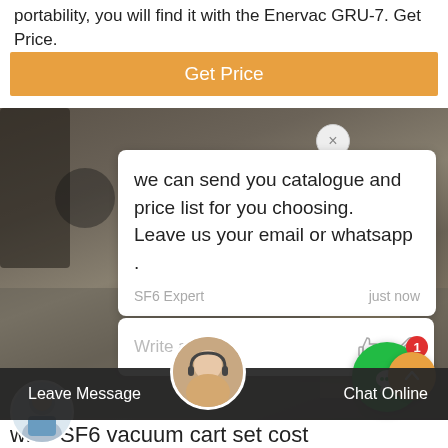portability, you will find it with the Enervac GRU-7. Get Price.
[Figure (screenshot): Orange 'Get Price' button on a webpage]
[Figure (screenshot): Chat popup overlay showing a message from SF6 Expert: 'we can send you catalogue and price list for you choosing. Leave us your email or whatsapp.' with a reply input box, green chat notification button with badge '1', and orange up-arrow button. Background shows industrial/engineering equipment photo.]
[Figure (screenshot): Bottom navigation bar with 'Leave Message' on left, support agent avatar in center, and 'Chat Online' on right]
wika SF6 vacuum cart set cost